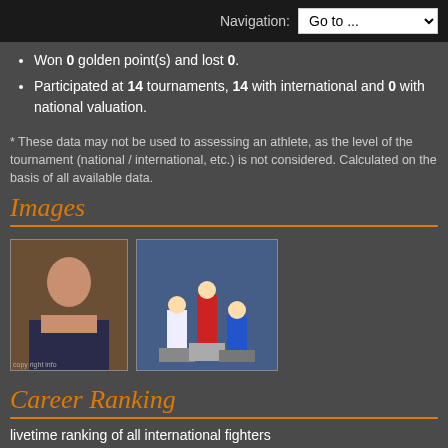Navigation: Go to ...
Won 0 golden point(s) and lost 0.
Participated at 14 tournaments, 14 with international and 0 with national valuation.
* These data may not be used to assessing an athlete, as the level of the tournament (national / international, etc.) is not considered. Calculated on the basis of all available data.
Images
[Figure (photo): Portrait photo of Laetitia]
[Figure (photo): Group photo of athletes on podium at tournament]
Career Ranking
livetime ranking of all international fighters
Laetitia is on place 1.577 with 135 points.